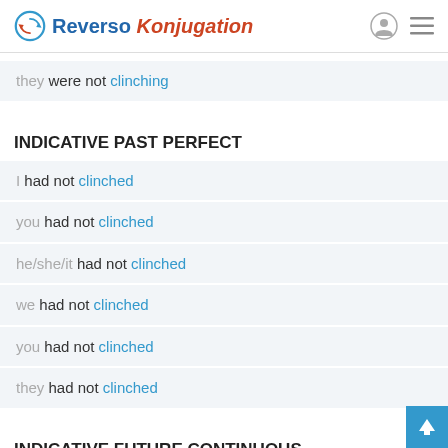Reverso Konjugation
they were not clinching
INDICATIVE PAST PERFECT
I had not clinched
you had not clinched
he/she/it had not clinched
we had not clinched
you had not clinched
they had not clinched
INDICATIVE FUTURE CONTINUOUS